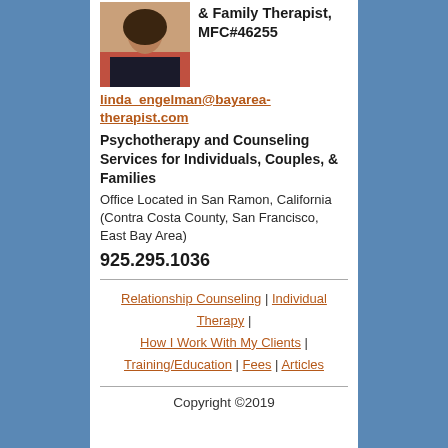[Figure (photo): Portrait photo of a woman with dark hair, partial view at top of page]
& Family Therapist, MFC#46255
linda_engelman@bayarea-therapist.com
Psychotherapy and Counseling Services for Individuals, Couples, & Families
Office Located in San Ramon, California (Contra Costa County, San Francisco, East Bay Area)
925.295.1036
Relationship Counseling | Individual Therapy | How I Work With My Clients | Training/Education | Fees | Articles
Copyright ©2019